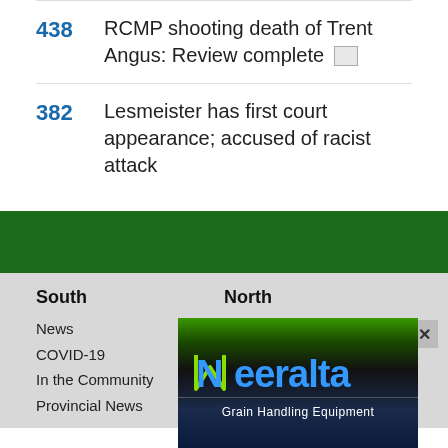438 RCMP shooting death of Trent Angus: Review complete
382 Lesmeister has first court appearance; accused of racist attack
South
News
COVID-19
In the Community
Provincial News
North
News
COVID-19
In the Community
Provincial News
[Figure (logo): Neeralta Grain Handling Equipment advertisement banner with blue logo text and green/black background]